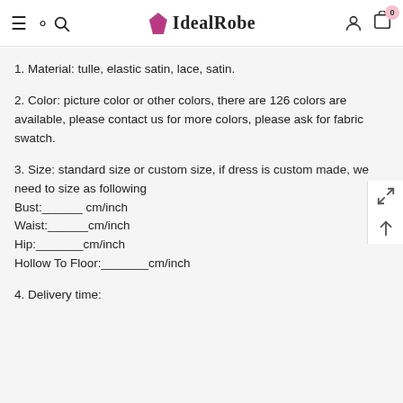IdealRobe
1. Material: tulle, elastic satin, lace, satin.
2. Color: picture color or other colors, there are 126 colors are available, please contact us for more colors, please ask for fabric swatch.
3. Size: standard size or custom size, if dress is custom made, we need to size as following
Bust:______ cm/inch
Waist:______cm/inch
Hip:_______cm/inch
Hollow To Floor:_______cm/inch
4. Delivery time: